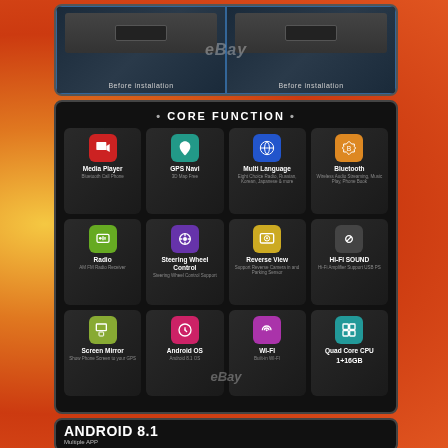[Figure (photo): Two car dashboard images side by side labeled 'Before installation' with eBay watermark overlay]
[Figure (infographic): Core Function grid showing 12 features: Media Player, GPS Navi, Multi Language, Bluetooth, Radio, Steering Wheel Control, Reverse View, HI-FI SOUND, Screen Mirror, Android OS, WI-FI, Quad Core CPU 1+16GB]
[Figure (infographic): Android 8.1 Multiple APP section with app icons cloud graphic]